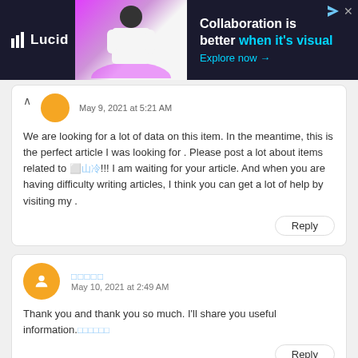[Figure (screenshot): Lucid advertisement banner: dark background with logo, person image, text 'Collaboration is better when it's visual' and 'Explore now →']
We are looking for a lot of data on this item. In the meantime, this is the perfect article I was looking for . Please post a lot about items related to [unreadable]!!! I am waiting for your article. And when you are having difficulty writing articles, I think you can get a lot of help by visiting my .
May 9, 2021 at 5:21 AM
Reply
[unreadable characters]
May 10, 2021 at 2:49 AM
Thank you and thank you so much. I'll share you useful information.[unreadable characters]
Reply